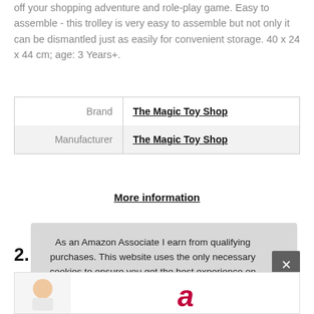off your shopping adventure and role-play game. Easy to assemble - this trolley is very easy to assemble but not only it can be dismantled just as easily for convenient storage. 40 x 24 x 44 cm; age: 3 Years+.
| Brand | The Magic Toy Shop |
| Manufacturer | The Magic Toy Shop |
More information
2.
As an Amazon Associate I earn from qualifying purchases. This website uses the only necessary cookies to ensure you get the best experience on our website. More information